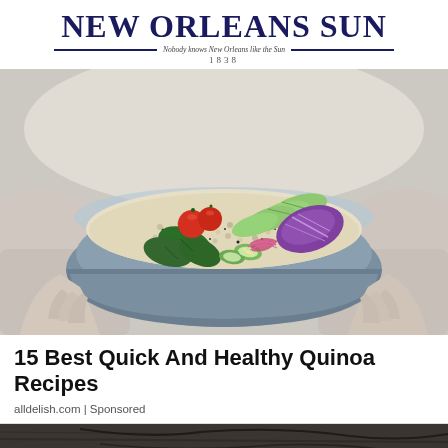NEW ORLEANS SUN — Nobody knows New Orleans like the Sun — 1838
[Figure (photo): Hands holding a light blue bowl filled with quinoa salad topped with avocado slices, cherry tomatoes, sliced cucumbers, red onion, purple cabbage, and spinach leaves]
15 Best Quick And Healthy Quinoa Recipes
alldelish.com | Sponsored
[Figure (photo): Partial view of what appears to be an outdoor scene with dark wood surface and some green foliage visible at the bottom left corner]